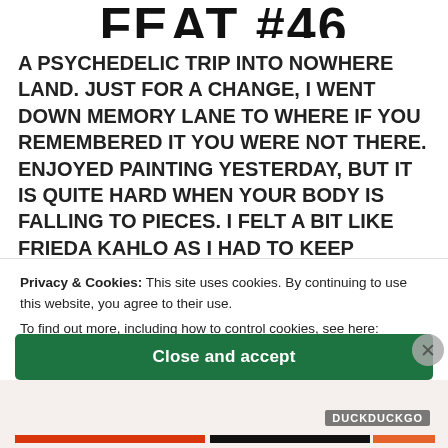FEAT #46
A PSYCHEDELIC TRIP INTO NOWHERE LAND. JUST FOR A CHANGE, I WENT DOWN MEMORY LANE TO WHERE IF YOU REMEMBERED IT YOU WERE NOT THERE. ENJOYED PAINTING YESTERDAY, BUT IT IS QUITE HARD WHEN YOUR BODY IS FALLING TO PIECES. I FELT A BIT LIKE FRIEDA KAHLO AS I HAD TO KEEP COMING BACK TO
Continue reading —
Privacy & Cookies: This site uses cookies. By continuing to use this website, you agree to their use. To find out more, including how to control cookies, see here: Cookie Policy
Close and accept